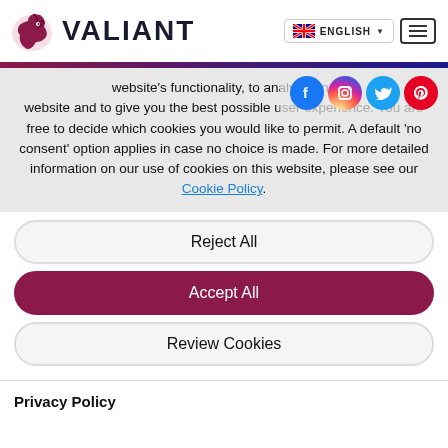[Figure (logo): Valiant logo with horse icon and wordmark VALIANT]
website's functionality, to analyse and website and to give you the best possible user experience. You are free to decide which cookies you would like to permit. A default 'no consent' option applies in case no choice is made. For more detailed information on our use of cookies on this website, please see our Cookie Policy.
Reject All
Accept All
Review Cookies
Privacy Policy